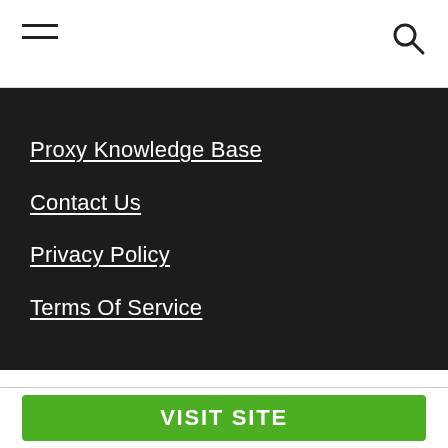[Figure (other): Hamburger menu icon (three horizontal lines) on left; magnifying glass search icon on right — top navigation bar]
Proxy Knowledge Base
Contact Us
Privacy Policy
Terms Of Service
We use cookies on our website to give you the most relevant experience by remembering your preferences and repeat visits. By clicking “Accept All”, you consent to the use of ALL the cookies. However, you may visit "Cookie Settings" to provide a controlled consent.
VISIT SITE